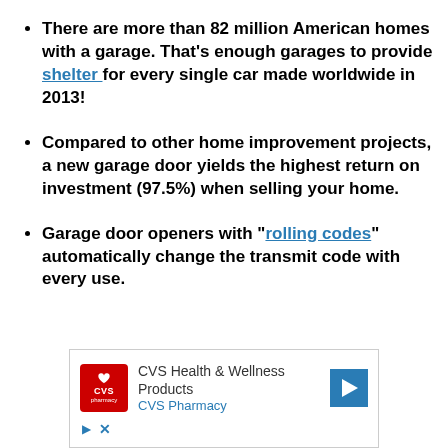There are more than 82 million American homes with a garage. That's enough garages to provide shelter for every single car made worldwide in 2013!
Compared to other home improvement projects, a new garage door yields the highest return on investment (97.5%) when selling your home.
Garage door openers with "rolling codes" automatically change the transmit code with every use.
[Figure (other): CVS Health & Wellness Products advertisement banner with CVS Pharmacy logo, navigation arrow icon, play and close controls]